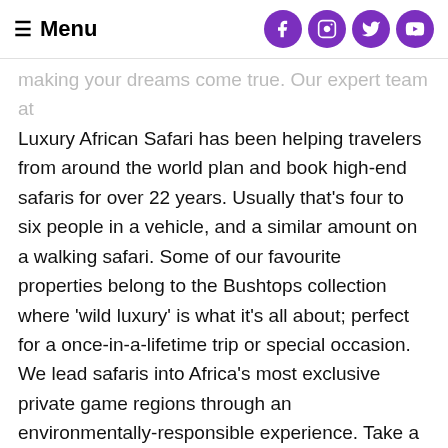Menu
making your dreams come true. Our expert team at Luxury African Safari has been helping travelers from around the world plan and book high-end safaris for over 22 years. Usually that's four to six people in a vehicle, and a similar amount on a walking safari. Some of our favourite properties belong to the Bushtops collection where 'wild luxury' is what it's all about; perfect for a once-in-a-lifetime trip or special occasion. We lead safaris into Africa's most exclusive private game regions through an environmentally-responsible experience. Take a classic luxury-class African safari through Tanzania, Botswana, South Africa, Namibia, Zimbabwe, and Zambia and visit the breathtaking Victoria Falls in style along the way. Here, you and your family will create memories together and have adventures you'll be talking about for years to come. Luxury African Safari invites you to experience the best of Southern and East Africa with us. Luxury African